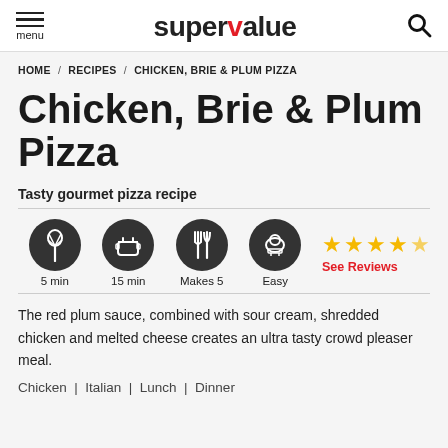supervalue
HOME / RECIPES / CHICKEN, BRIE & PLUM PIZZA
Chicken, Brie & Plum Pizza
Tasty gourmet pizza recipe
[Figure (infographic): Recipe info icons: whisk (5 min), pot (15 min), fork/knife (Makes 5), chef hat (Easy), plus 4.5 star rating with See Reviews link]
The red plum sauce, combined with sour cream, shredded chicken and melted cheese creates an ultra tasty crowd pleaser meal.
Chicken | Italian | Lunch | Dinner